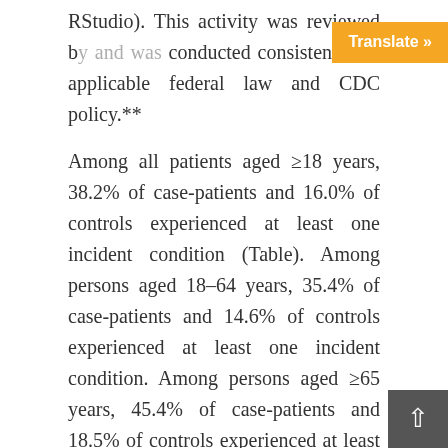RStudio). This activity was reviewed b... conducted consistent with applicable federal law and CDC policy.**
Among all patients aged ≥18 years, 38.2% of case-patients and 16.0% of controls experienced at least one incident condition (Table). Among persons aged 18–64 years, 35.4% of case-patients and 14.6% of controls experienced at least one incident condition. Among persons aged ≥65 years, 45.4% of case-patients and 18.5% of controls experienced at least one incident condition. The absolute risk difference between the percentage of case-patients and controls who developed an incident condition was 20.8 percentage points for those aged 18–64 years, and 26.9 percentage points for those aged ≥65 years. This finding translates to one in five COVID-19 survivors